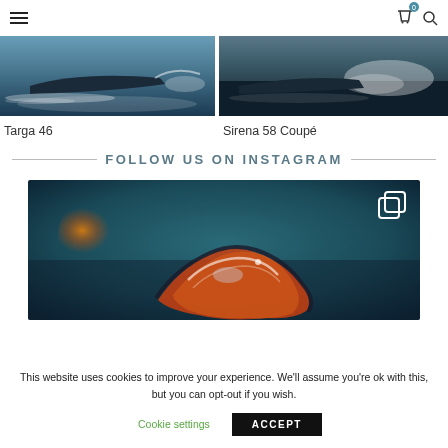Navigation header with hamburger menu, cart (0), and search icons
[Figure (photo): Speedboat on water with white wake, blue-grey tones]
Targa 46
[Figure (photo): Boat on rough water with white wave spray, dark tones]
Sirena 58 Coupé
FOLLOW US ON INSTAGRAM
[Figure (photo): Close-up of colorful abstract glass art object with orange, blue and dark tones, bokeh background with orange light. Copy icon in top-right corner.]
This website uses cookies to improve your experience. We'll assume you're ok with this, but you can opt-out if you wish.
Cookie settings   ACCEPT